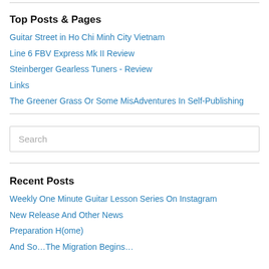Top Posts & Pages
Guitar Street in Ho Chi Minh City Vietnam
Line 6 FBV Express Mk II Review
Steinberger Gearless Tuners - Review
Links
The Greener Grass Or Some MisAdventures In Self-Publishing
Search
Recent Posts
Weekly One Minute Guitar Lesson Series On Instagram
New Release And Other News
Preparation H(ome)
And So…The Migration Begins…